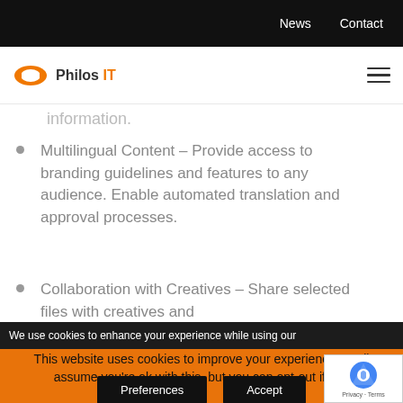News   Contact
[Figure (logo): Philos IT logo with orange fish icon]
information.
Multilingual Content – Provide access to branding guidelines and features to any audience. Enable automated translation and approval processes.
Collaboration with Creatives – Share selected files with creatives and
We use cookies to enhance your experience while using our
This website uses cookies to improve your experience. We'll assume you're ok with this, but you can opt-out if you